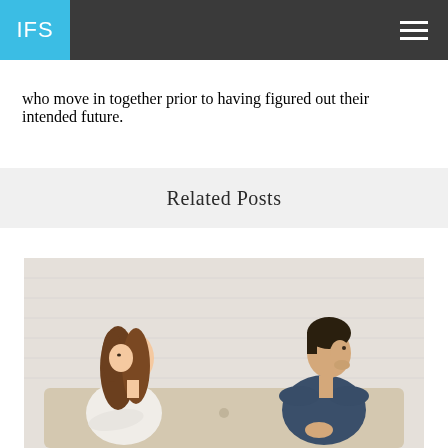IFS
who move in together prior to having figured out their intended future.
Related Posts
[Figure (photo): A couple sitting apart on a couch, backs turned to each other. The woman on the left is young with long brown hair, wearing a white top and has her arms crossed. The man on the right is wearing a dark denim shirt and sitting with his hands clasped, looking away. Light brick wall in background.]